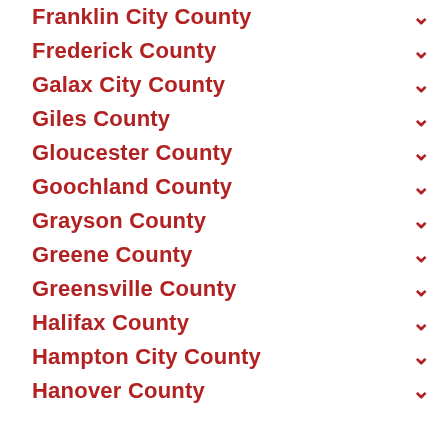Franklin City County
Frederick County
Galax City County
Giles County
Gloucester County
Goochland County
Grayson County
Greene County
Greensville County
Halifax County
Hampton City County
Hanover County